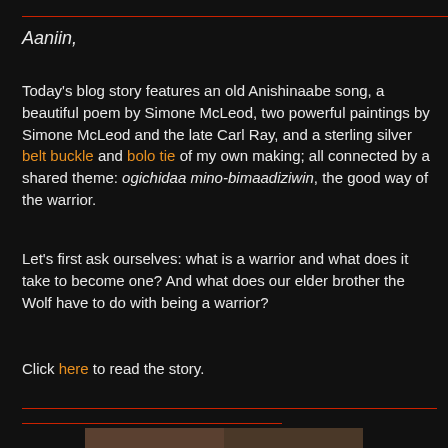Aaniin,
Today's blog story features an old Anishinaabe song, a beautiful poem by Simone McLeod, two powerful paintings by Simone McLeod and the late Carl Ray, and a sterling silver belt buckle and bolo tie of my own making; all connected by a shared theme: ogichidaa mino-bimaadiziwin, the good way of the warrior.
Let's first ask ourselves: what is a warrior and what does it take to become one? And what does our elder brother the Wolf have to do with being a warrior?
Click here to read the story.
[Figure (photo): Two portrait photos side by side at the bottom of the page, partially visible]